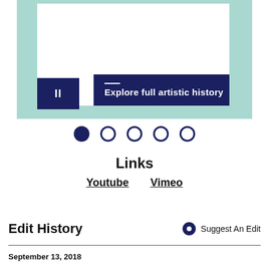[Figure (screenshot): UI screenshot showing a teal background with a white inner panel and two dark navy blue buttons: a pause button on the left and an 'Explore full artistic history' button on the right with a small horizontal line above the text.]
[Figure (infographic): Navigation dots: one filled navy circle followed by four empty navy circles arranged horizontally.]
Links
Youtube   Vimeo
Edit History
Suggest An Edit
September 13, 2018